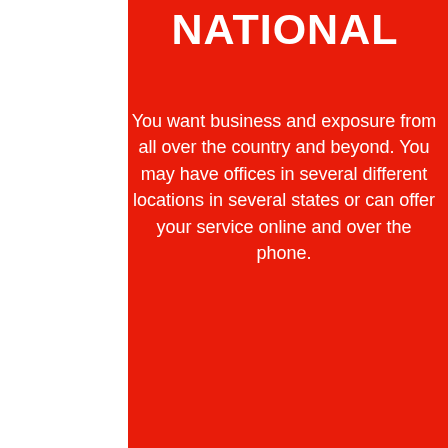NATIONAL
You want business and exposure from all over the country and beyond. You may have offices in several different locations in several states or can offer your service online and over the phone.
NATIONAL STRATEGY
[Figure (photo): Black and white photograph of printed materials/documents visible at the bottom of the page]
We're Online!
How may I help you today?